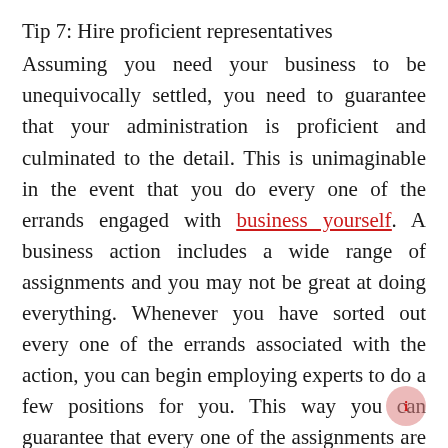Tip 7: Hire proficient representatives
Assuming you need your business to be unequivocally settled, you need to guarantee that your administration is proficient and culminated to the detail. This is unimaginable in the event that you do every one of the errands engaged with business yourself. A business action includes a wide range of assignments and you may not be great at doing everything. Whenever you have sorted out every one of the errands associated with the action, you can begin employing experts to do a few positions for you. This way you can guarantee that every one of the assignments are performed on schedule and expertly.